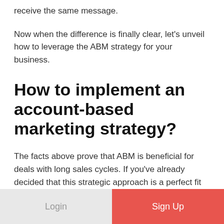receive the same message.
Now when the difference is finally clear, let's unveil how to leverage the ABM strategy for your business.
How to implement an account-based marketing strategy?
The facts above prove that ABM is beneficial for deals with long sales cycles. If you've already decided that this strategic approach is a perfect fit for your company, then let's find out how to do it.
1. Single out the highly valuable accounts you want to